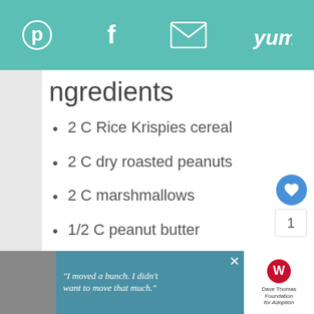Pinterest | Facebook | Email | Yum
Ingredients
2 C Rice Krispies cereal
2 C dry roasted peanuts
2 C marshmallows
1/2 C peanut butter
1 and 1/2 packages, (12 oz pkgs) white chocolate chips
[Figure (photo): Advertisement banner at bottom with a boy photo and Dave Thomas Foundation for Adoption text reading 'I moved a bunch. I didn't want to move that much.']